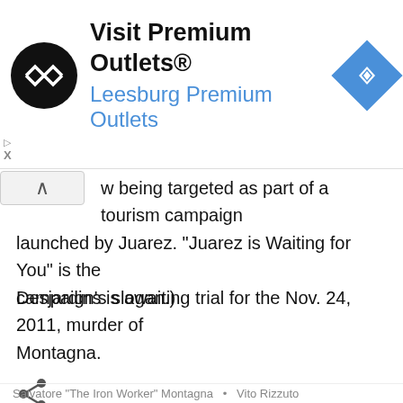[Figure (screenshot): Advertisement banner for Visit Premium Outlets® showing Leesburg Premium Outlets with logo circle and navigation icon]
w being targeted as part of a tourism campaign launched by Juarez. "Juarez is Waiting for You" is the campaign's slogan.)
Desjardins is awaiting trial for the Nov. 24, 2011, murder of Montagna.
Bonanno family
GTA
Joseph Mignacca
Montreal
Raynald Desjardins
Salvatore "The Iron Worker" Montagna   •   Vito Rizzuto